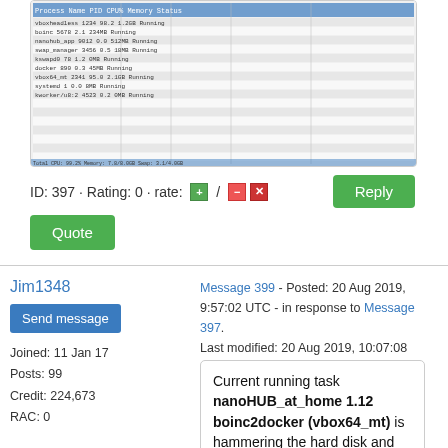[Figure (screenshot): Screenshot of a task manager or system monitor showing running processes in a table format with multiple columns]
ID: 397 · Rating: 0 · rate: [+] / [-] [x]
Reply
Quote
Jim1348
Send message
Joined: 11 Jan 17
Posts: 99
Credit: 224,673
RAC: 0
Message 399 - Posted: 20 Aug 2019, 9:57:02 UTC - in response to Message 397. Last modified: 20 Aug 2019, 10:07:08 UTC
Current running task nanoHUB_at_home 1.12 boinc2docker (vbox64_mt) is hammering the hard disk and swap file very hard.